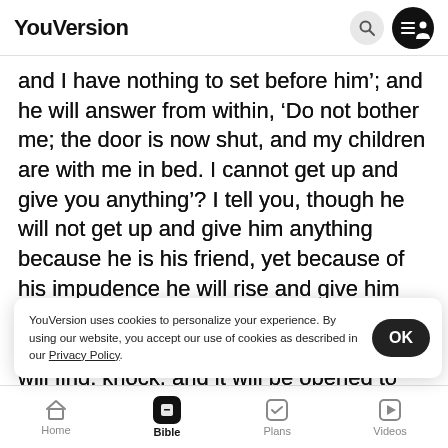YouVersion
and I have nothing to set before him’; and he will answer from within, ‘Do not bother me; the door is now shut, and my children are with me in bed. I cannot get up and give you anything’? I tell you, though he will not get up and give him anything because he is his friend, yet because of his impudence he will rise and give him whatever he needs. And I tell you, ask, and it will be given to you; seek, and you will find; knock, and it will be opened to you. For everyone who asks receives, and the one who see[ks finds, and to everyone who knocks it will be] opened. [What father among you, if his son asks for a] fish, will [give him a serpent instead of a fish, or if he] asks for an egg, will give him a scorpion? If you then
YouVersion uses cookies to personalize your experience. By using our website, you accept our use of cookies as described in our Privacy Policy.
Home  Bible  Plans  Videos